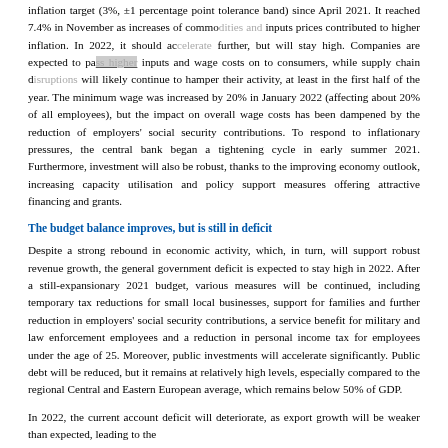inflation target (3%, ±1 percentage point tolerance band) since April 2021. It reached 7.4% in November as increases of commodities and inputs prices contributed to higher inflation. In 2022, it should accelerate further, but will stay high. Companies are expected to pass higher inputs and wage costs on to consumers, while supply chain disruptions will likely continue to hamper their activity, at least in the first half of the year. The minimum wage was increased by 20% in January 2022 (affecting about 20% of all employees), but the impact on overall wage costs has been dampened by the reduction of employers' social security contributions. To respond to inflationary pressures, the central bank began a tightening cycle in early summer 2021. Furthermore, investment will also be robust, thanks to the improving economy outlook, increasing capacity utilisation and policy support measures offering attractive financing and grants.
The budget balance improves, but is still in deficit
Despite a strong rebound in economic activity, which, in turn, will support robust revenue growth, the general government deficit is expected to stay high in 2022. After a still-expansionary 2021 budget, various measures will be continued, including temporary tax reductions for small local businesses, support for families and further reduction in employers' social security contributions, a service benefit for military and law enforcement employees and a reduction in personal income tax for employees under the age of 25. Moreover, public investments will accelerate significantly. Public debt will be reduced, but it remains at relatively high levels, especially compared to the regional Central and Eastern European average, which remains below 50% of GDP.
In 2022, the current account deficit will deteriorate, as export growth will be weaker than expected, leading to the...